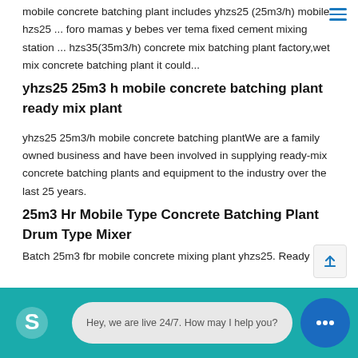mobile concrete batching plant includes yhzs25 (25m3/h) mobile hzs25 ... foro mamas y bebes ver tema fixed cement mixing station ... hzs35(35m3/h) concrete mix batching plant factory,wet mix concrete batching plant it could...
yhzs25 25m3 h mobile concrete batching plant ready mix plant
yhzs25 25m3/h mobile concrete batching plantWe are a family owned business and have been involved in supplying ready-mix concrete batching plants and equipment to the industry over the last 25 years.
25m3 Hr Mobile Type Concrete Batching Plant Drum Type Mixer
Batch 25m3 fbr mobile concrete mixing plant yhzs25. Ready mix...
Hey, we are live 24/7. How may I help you?